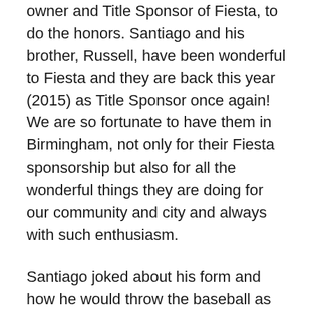owner and Title Sponsor of Fiesta, to do the honors. Santiago and his brother, Russell, have been wonderful to Fiesta and they are back this year (2015) as Title Sponsor once again!  We are so fortunate to have them in Birmingham, not only for their Fiesta sponsorship but also for all the wonderful things they are doing for our community and city and always with such enthusiasm.
Santiago joked about his form and how he would throw the baseball as he went to the mound and then proceeded to throw out the most perfect pitch!  It was great to be on the field when this was happening and feel the excitement around us.  Santiago definitely made us proud with that pitch and we certainly let him know!  The traditional race of the mascots was interesting too.  From what I hear, the Hot Dog always wins and the Taco is left in the dusk. Well, this year we had Ronald McDonald running a little